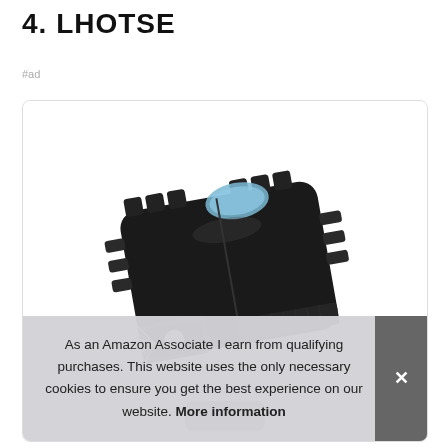4. LHOTSE
#ad
[Figure (photo): A black clip-on headlamp with bright LED light shining, shown at an angle against a white background. The device has ridged grips on the side and a blue oval button on top.]
As an Amazon Associate I earn from qualifying purchases. This website uses the only necessary cookies to ensure you get the best experience on our website. More information